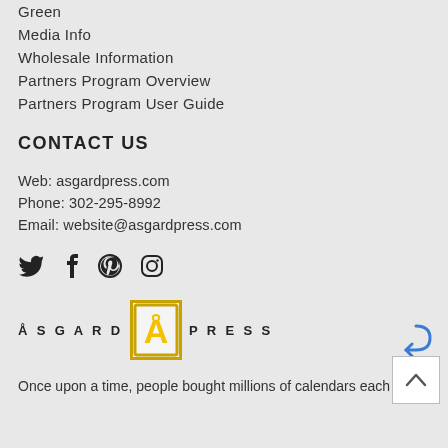Green
Media Info
Wholesale Information
Partners Program Overview
Partners Program User Guide
CONTACT US
Web: asgardpress.com
Phone: 302-295-8992
Email: website@asgardpress.com
[Figure (illustration): Social media icons: Twitter, Facebook, Pinterest, Instagram]
[Figure (logo): Asgard Press logo with stylized A in a gold-bordered box between the words ASGARD and PRESS]
Once upon a time, people bought millions of calendars each